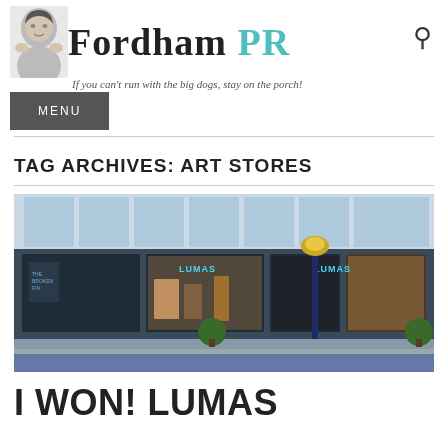Fordham PR — If you can't run with the big dogs, stay on the porch!
TAG ARCHIVES: ART STORES
[Figure (photo): Exterior storefront of LUMAS art gallery/store with large glass windows, blue lamp post on sidewalk, topiary bushes, warm interior lighting visible through windows.]
I WON! LUMAS